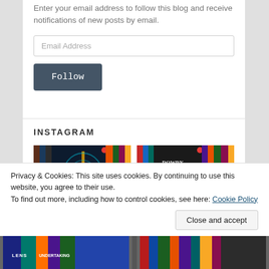Enter your email address to follow this blog and receive notifications of new posts by email.
[Figure (screenshot): Email address input field with placeholder text 'Email Address']
[Figure (screenshot): Follow button - dark grey/slate colored button with white text 'Follow']
INSTAGRAM
[Figure (photo): Instagram photo showing book covers on a shelf, featuring a book with a sword and blue swirling design on the cover]
[Figure (photo): Instagram photo showing book covers on a shelf, with 'Dowry of Blood' book prominently displayed]
Privacy & Cookies: This site uses cookies. By continuing to use this website, you agree to their use.
To find out more, including how to control cookies, see here: Cookie Policy
[Figure (screenshot): Close and accept button]
[Figure (photo): Partial Instagram photos at bottom of page showing colorful book spines]
[Figure (photo): Partial Instagram photo at bottom right]